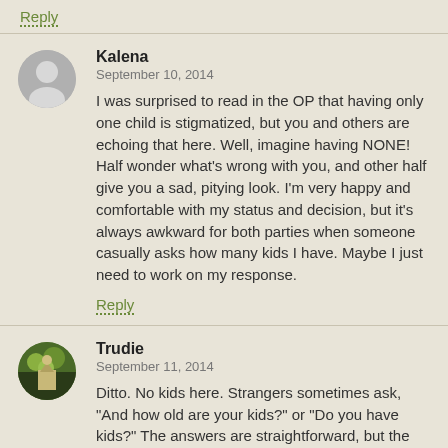Reply
Kalena
September 10, 2014
I was surprised to read in the OP that having only one child is stigmatized, but you and others are echoing that here. Well, imagine having NONE! Half wonder what's wrong with you, and other half give you a sad, pitying look. I'm very happy and comfortable with my status and decision, but it's always awkward for both parties when someone casually asks how many kids I have. Maybe I just need to work on my response.
Reply
Trudie
September 11, 2014
Ditto. No kids here. Strangers sometimes ask, "And how old are your kids?" or "Do you have kids?" The answers are straightforward, but the response is always a bit pitying.